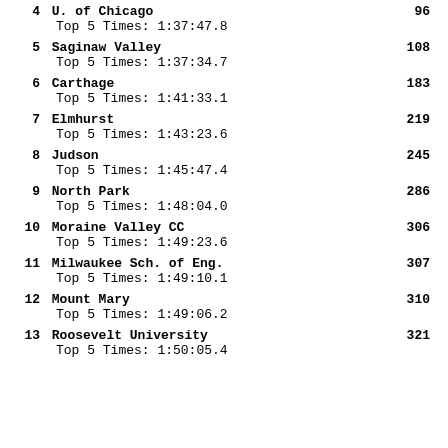4  U. of Chicago   96
   Top  5 Times: 1:37:47.8
5  Saginaw Valley   108
   Top  5 Times: 1:37:34.7
6  Carthage   183
   Top  5 Times: 1:41:33.1
7  Elmhurst   219
   Top  5 Times: 1:43:23.6
8  Judson   245
   Top  5 Times: 1:45:47.4
9  North Park   286
   Top  5 Times: 1:48:04.0
10  Moraine Valley CC   306
    Top  5 Times: 1:49:23.6
11  Milwaukee Sch. of Eng.   307
    Top  5 Times: 1:49:10.1
12  Mount Mary   310
    Top  5 Times: 1:49:06.2
13  Roosevelt University   321
    Top  5 Times: 1:50:05.4